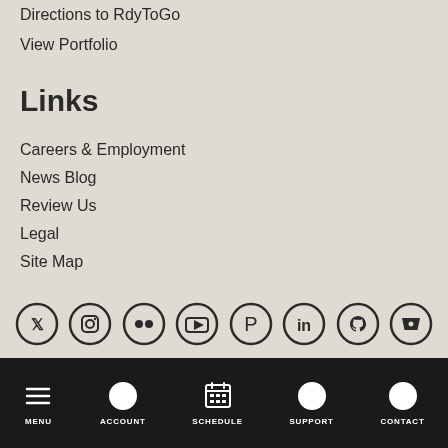Directions to RdyToGo
View Portfolio
Links
Careers & Employment
News Blog
Review Us
Legal
Site Map
[Figure (other): Row of social media icons: Twitter, Instagram, Flickr, YouTube, Pinterest, LinkedIn, GitHub, Bitbucket]
MENU | ACCOUNT | SCHEDULE | SUPPORT | CONTACT